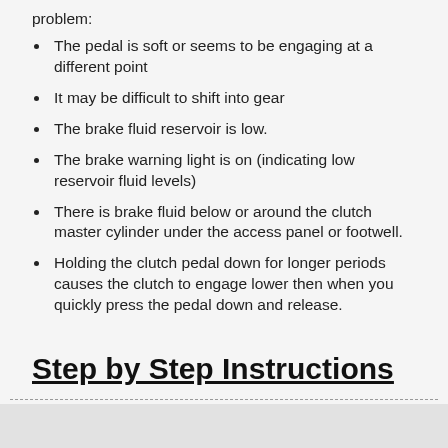problem:
The pedal is soft or seems to be engaging at a different point
It may be difficult to shift into gear
The brake fluid reservoir is low.
The brake warning light is on (indicating low reservoir fluid levels)
There is brake fluid below or around the clutch master cylinder under the access panel or footwell.
Holding the clutch pedal down for longer periods causes the clutch to engage lower then when you quickly press the pedal down and release.
Step by Step Instructions